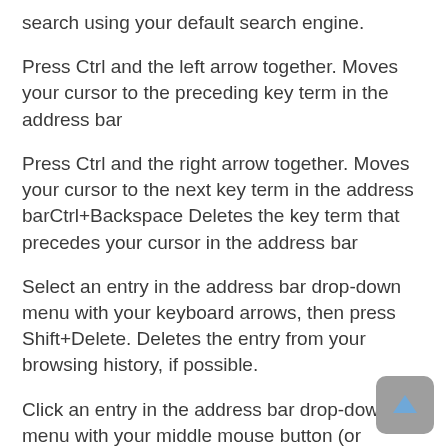search using your default search engine.
Press Ctrl and the left arrow together. Moves your cursor to the preceding key term in the address bar
Press Ctrl and the right arrow together. Moves your cursor to the next key term in the address barCtrl+Backspace Deletes the key term that precedes your cursor in the address bar
Select an entry in the address bar drop-down menu with your keyboard arrows, then press Shift+Delete. Deletes the entry from your browsing history, if possible.
Click an entry in the address bar drop-down menu with your middle mouse button (or mousewheel).